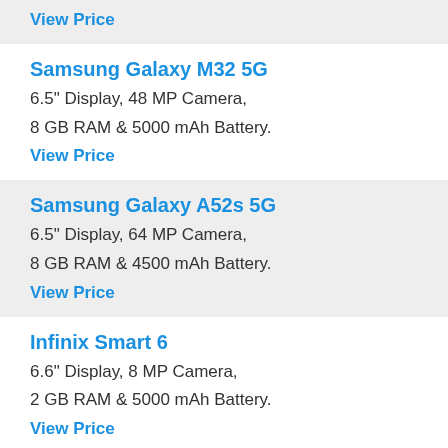View Price
Samsung Galaxy M32 5G
6.5" Display, 48 MP Camera,
8 GB RAM & 5000 mAh Battery.
View Price
Samsung Galaxy A52s 5G
6.5" Display, 64 MP Camera,
8 GB RAM & 4500 mAh Battery.
View Price
Infinix Smart 6
6.6" Display, 8 MP Camera,
2 GB RAM & 5000 mAh Battery.
View Price
Oppo K9 Pro
6.43" Display, 64 MP Camera,